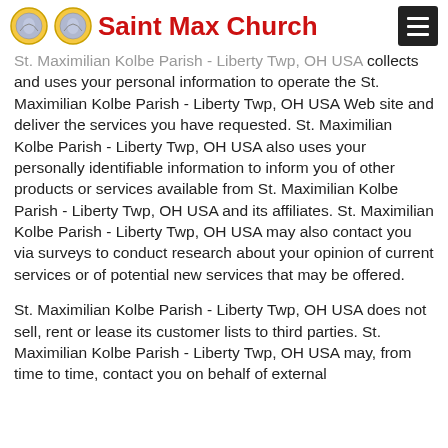Saint Max Church
St. Maximilian Kolbe Parish - Liberty Twp, OH USA collects and uses your personal information to operate the St. Maximilian Kolbe Parish - Liberty Twp, OH USA Web site and deliver the services you have requested. St. Maximilian Kolbe Parish - Liberty Twp, OH USA also uses your personally identifiable information to inform you of other products or services available from St. Maximilian Kolbe Parish - Liberty Twp, OH USA and its affiliates. St. Maximilian Kolbe Parish - Liberty Twp, OH USA may also contact you via surveys to conduct research about your opinion of current services or of potential new services that may be offered.
St. Maximilian Kolbe Parish - Liberty Twp, OH USA does not sell, rent or lease its customer lists to third parties. St. Maximilian Kolbe Parish - Liberty Twp, OH USA may, from time to time, contact you on behalf of external